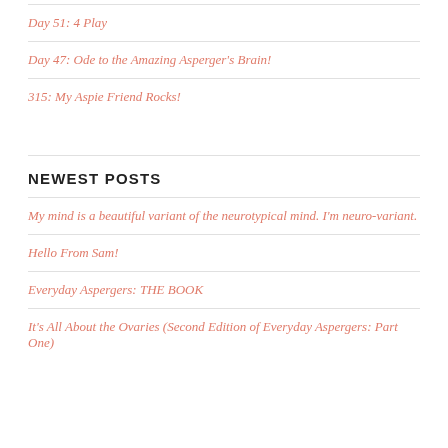Day 51: 4 Play
Day 47: Ode to the Amazing Asperger's Brain!
315: My Aspie Friend Rocks!
NEWEST POSTS
My mind is a beautiful variant of the neurotypical mind. I'm neuro-variant.
Hello From Sam!
Everyday Aspergers: THE BOOK
It's All About the Ovaries (Second Edition of Everyday Aspergers: Part One)